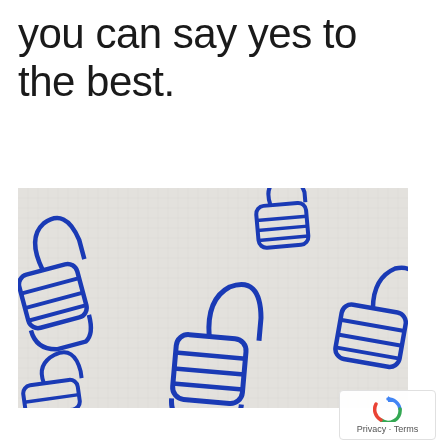you can say yes to the best.
[Figure (photo): Close-up photo of a fabric or paper surface with a repeating pattern of blue thumbs-up hand gesture outlines/stamps. Multiple thumbs-up icons are visible at different positions and slightly different orientations across a light gray/white textured background.]
Privacy · Terms